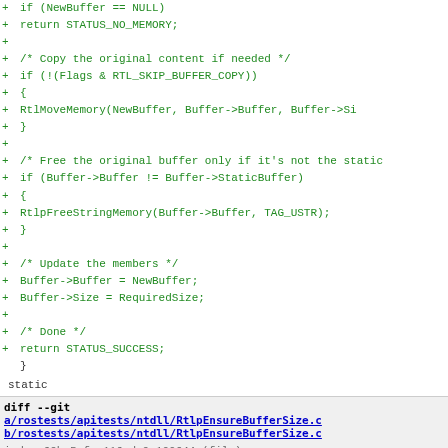Code diff showing C source with added lines: if (NewBuffer == NULL), return STATUS_NO_MEMORY, copy original content if needed, RtlMoveMemory, free original buffer, RtlpFreeStringMemory, update members, return STATUS_SUCCESS, closing brace, static keyword
diff --git a/rostests/apitests/ntdll/RtlpEnsureBufferSize.c b/rostests/apitests/ntdll/RtlpEnsureBufferSize.c
index 69bc5cf..116ada9 100644 (file)
--- a/rostests/apitests/ntdll/RtlpEnsureBufferSize.c
+++ b/rostests/apitests/ntdll/RtlpEnsureBufferSize.c
@@ -11,20 +11,6 @@